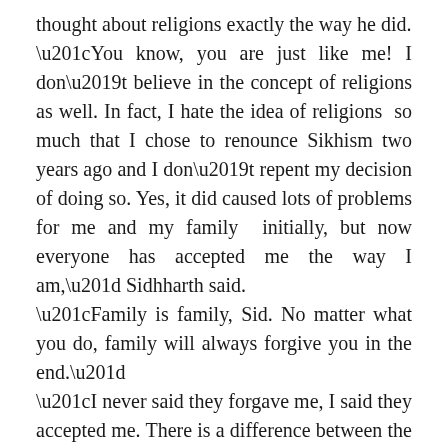thought about religions exactly the way he did. “You know, you are just like me! I don’t believe in the concept of religions as well. In fact, I hate the idea of religions so much that I chose to renounce Sikhism two years ago and I don’t repent my decision of doing so. Yes, it did caused lots of problems for me and my family initially, but now everyone has accepted me the way I am,” Sidhharth said. “Family is family, Sid. No matter what you do, family will always forgive you in the end.” “I never said they forgave me, I said they accepted me. There is a difference between the two,” Sidhharth clarified his situation as if this misunderstanding could cause the beginning of third world war. Aakash had begun to shake his head in disagreement even before Sidhharth could end his sentence, “Is there? I doubt. They forgave you. That is why they accepted you!”